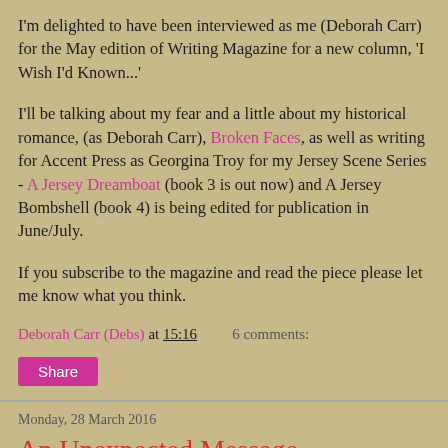I'm delighted to have been interviewed as me (Deborah Carr) for the May edition of Writing Magazine for a new column, 'I Wish I'd Known...'
I'll be talking about my fear and a little about my historical romance, (as Deborah Carr), Broken Faces, as well as writing for Accent Press as Georgina Troy for my Jersey Scene Series - A Jersey Dreamboat (book 3 is out now) and A Jersey Bombshell (book 4) is being edited for publication in June/July.
If you subscribe to the magazine and read the piece please let me know what you think.
Deborah Carr (Debs) at 15:16    6 comments:
Share
Monday, 28 March 2016
An Unexpected Message